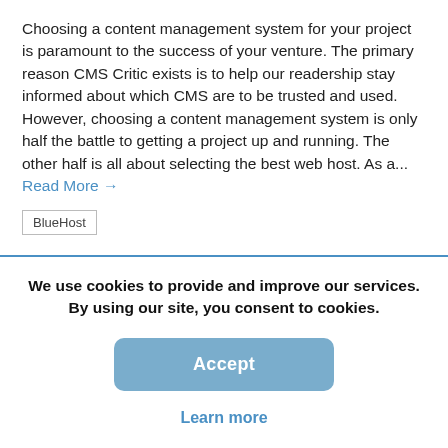Choosing a content management system for your project is paramount to the success of your venture. The primary reason CMS Critic exists is to help our readership stay informed about which CMS are to be trusted and used. However, choosing a content management system is only half the battle to getting a project up and running. The other half is all about selecting the best web host. As a... Read More →
BlueHost
We use cookies to provide and improve our services. By using our site, you consent to cookies.
Accept
Learn more